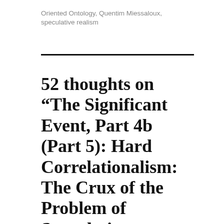Oriented Ontology, Quentim Miessaloux, speculative realism
52 thoughts on “The Significant Event, Part 4b (Part 5): Hard Correlationalism: The Crux of the Problem of Speculative Realism and the Critique of Conventional Philosophy. (And...